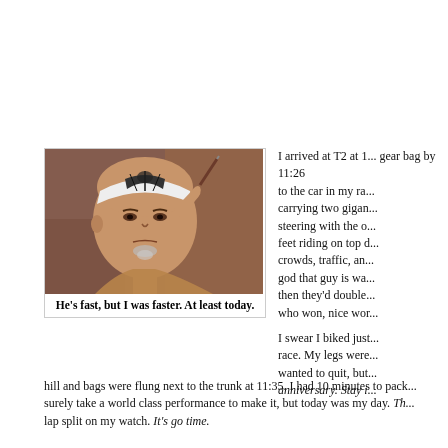[Figure (photo): Photo of an older Asian man wearing a white headband with a black design, holding a thin stick or pencil up near his face, looking thoughtfully to the side. Warm brown tones, wooden background.]
He's fast, but I was faster. At least today.
I arrived at T2 at 1... gear bag by 11:26 ... to the car in my ra... carrying two gigan... steering with the o... feet riding on top d... crowds, traffic, and... god that guy is wa... then they'd double... who won, nice wor... I swear I biked just... race. My legs were... wanted to quit, but... anniversary. Stay i...
hill and bags were flung next to the trunk at 11:35. I had 10 minutes to pack... surely take a world class performance to make it, but today was my day. Th... lap split on my watch. It's go time.